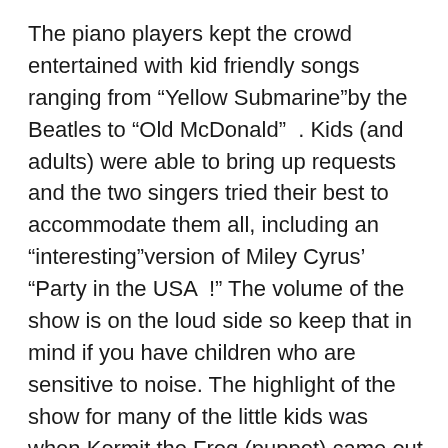The piano players kept the crowd entertained with kid friendly songs ranging from “Yellow Submarine”by the Beatles to “Old McDonald”  . Kids (and adults) were able to bring up requests and the two singers tried their best to accommodate them all, including an “interesting”version of Miley Cyrus’ “Party in the USA  !” The volume of the show is on the loud side so keep that in mind if you have children who are sensitive to noise. The highlight of the show for many of the little kids was when Kermit the Frog (puppet) came out and sang “Rainbow Connection”  . There was also a confetti drop from the ceiling shortly before the entertainers took a break. A big hit for all ages!
Bobby McKeys offers several party packages for